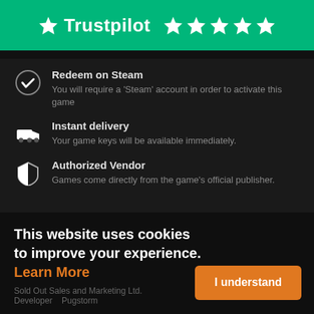[Figure (logo): Trustpilot logo with green background showing star icon, 'Trustpilot' text, and 4 white stars rating]
Redeem on Steam — You will require a 'Steam' account in order to activate this game
Instant delivery — Your game keys will be available immediately.
Authorized Vendor — Games come directly from the game's official publisher.
This website uses cookies to improve your experience. Learn More
Sold Out Sales and Marketing Ltd.
Developer   Pugstorm
I understand